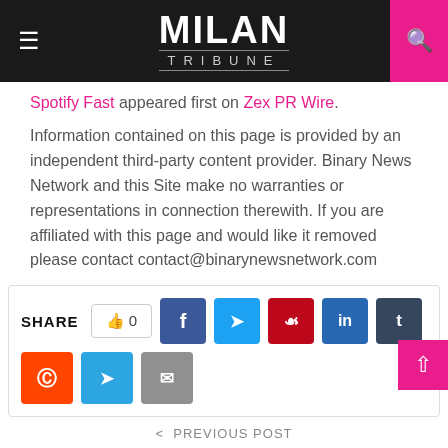MILAN TRIBUNE
Spotify Fast appeared first on Zex PR Wire.
Information contained on this page is provided by an independent third-party content provider. Binary News Network and this Site make no warranties or representations in connection therewith. If you are affiliated with this page and would like it removed please contact contact@binarynewsnetwork.com
SHARE  0
< PREVIOUS POST
Instant Famous offers social media